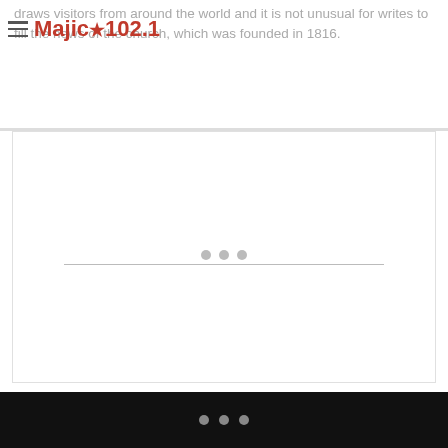draws visitors from around the world and it is not unusual for writes to fill the news of the church, which was founded in 1816.
Majic★102.1
[Figure (other): Advertisement or image placeholder area with three dots and a horizontal line in the center]
Emanuel mirrors the struggles of its congregants, overcoming